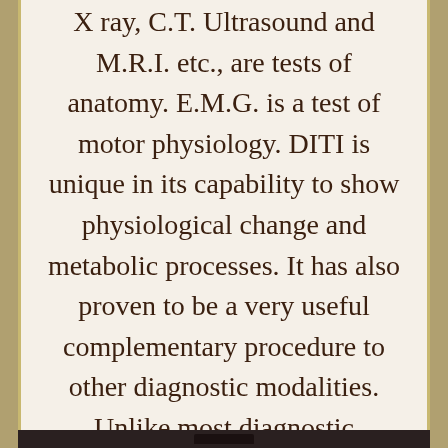X ray, C.T. Ultrasound and M.R.I. etc., are tests of anatomy. E.M.G. is a test of motor physiology. DITI is unique in its capability to show physiological change and metabolic processes. It has also proven to be a very useful complementary procedure to other diagnostic modalities.
Unlike most diagnostic modalities DITI is non